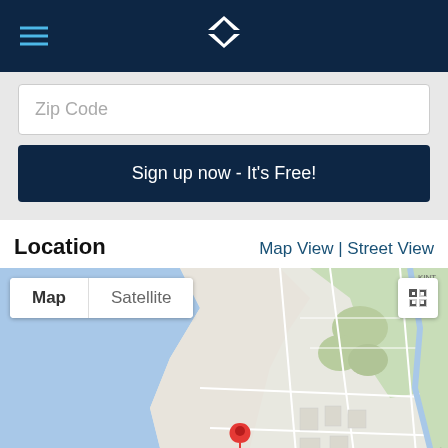Navigation header with hamburger menu and logo
Zip Code
Sign up now - It's Free!
Location
Map View | Street View
[Figure (map): Google Maps view showing a coastal area with a red location pin marker, map/satellite toggle buttons, and expand button. Green areas indicate parks. Blue area shows water/ocean to the left.]